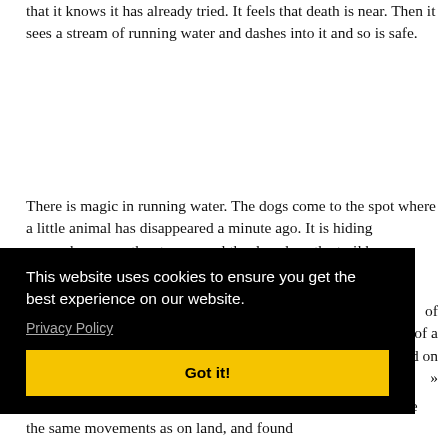that it knows it has already tried. It feels that death is near. Then it sees a stream of running water and dashes into it and so is safe.
There is magic in running water. The dogs come to the spot where a little animal has disappeared a minute ago. It is hiding somewhere near the stream, and the dogs lose the trail because there is no trail in running water. And this was one of the great secrets that Raggylug learned from his mother: «After the Brierbush, the Water is your friend.»
of of a nd on »
hesitated for a moment, but then followed his mother. He made the same movements as on land, and found
[Figure (other): Cookie consent overlay banner with black background. Text reads: 'This website uses cookies to ensure you get the best experience on our website.' with a 'Privacy Policy' link and a yellow 'Got it!' button.]